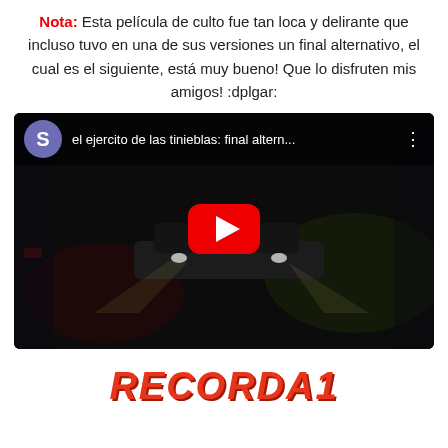Nota: Esta película de culto fue tan loca y delirante que incluso tuvo en una de sus versiones un final alternativo, el cual es el siguiente, está muy bueno! Que lo disfruten mis amigos! :dplgar:
[Figure (screenshot): YouTube video embed showing 'el ejercito de las tinieblas: final altern...' with a dark scene thumbnail featuring a car with headlights, a red YouTube play button in the center, and a user avatar 'S' in the top left.]
RECORDA1